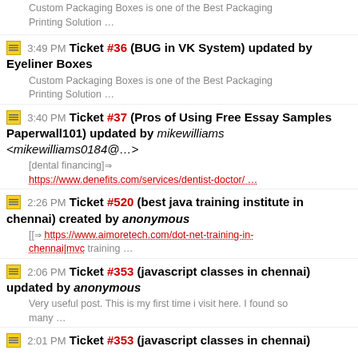Custom Packaging Boxes is one of the Best Packaging Printing Solution …
3:49 PM Ticket #36 (BUG in VK System) updated by Eyeliner Boxes
Custom Packaging Boxes is one of the Best Packaging Printing Solution …
3:40 PM Ticket #37 (Pros of Using Free Essay Samples Paperwall101) updated by mikewilliams <mikewilliams0184@…>
[dental financing]⇒ https://www.denefits.com/services/dentist-doctor/ …
2:26 PM Ticket #520 (best java training institute in chennai) created by anonymous
[[⇒ https://www.aimoretech.com/dot-net-training-in-chennai|mvc training …
2:06 PM Ticket #353 (javascript classes in chennai) updated by anonymous
Very useful post. This is my first time i visit here. I found so many …
2:01 PM Ticket #353 (javascript classes in chennai)